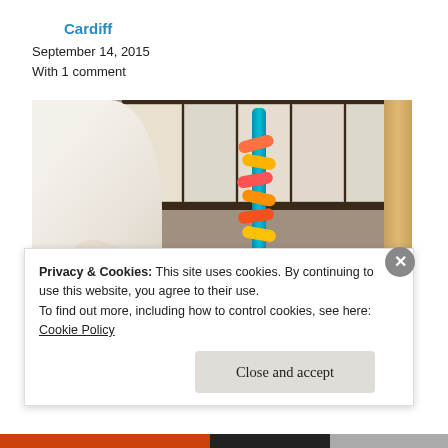Cardiff
September 14, 2015
With 1 comment
[Figure (photo): A person (seen from behind/side, white shirt) reaching down toward a baby lying on the floor, with a colorful toy spiral tower in the background and children's artwork/shelves visible behind.]
Privacy & Cookies: This site uses cookies. By continuing to use this website, you agree to their use.
To find out more, including how to control cookies, see here:
Cookie Policy
Close and accept